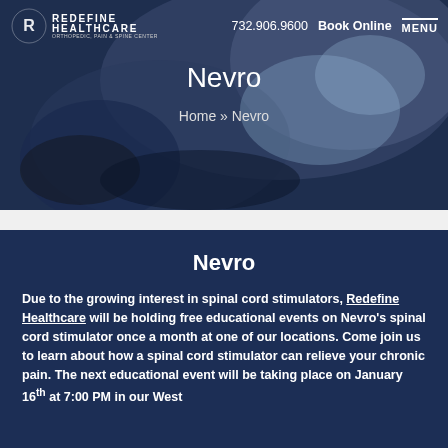[Figure (screenshot): Hero banner with dark blue medical background showing gloved hands performing a medical procedure]
Redefine Healthcare | 732.906.9600 | Book Online | MENU
Nevro
Home » Nevro
Nevro
Due to the growing interest in spinal cord stimulators, Redefine Healthcare will be holding free educational events on Nevro's spinal cord stimulator once a month at one of our locations. Come join us to learn about how a spinal cord stimulator can relieve your chronic pain. The next educational event will be taking place on January 16th at 7:00 PM in our West